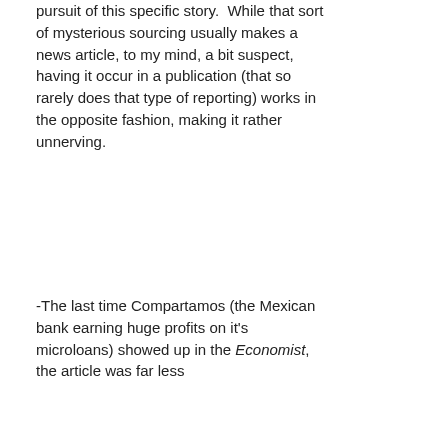pursuit of this specific story.  While that sort of mysterious sourcing usually makes a news article, to my mind, a bit suspect, having it occur in a publication (that so rarely does that type of reporting) works in the opposite fashion, making it rather unnerving.
-The last time Compartamos (the Mexican bank earning huge profits on it's microloans) showed up in the Economist, the article was far less